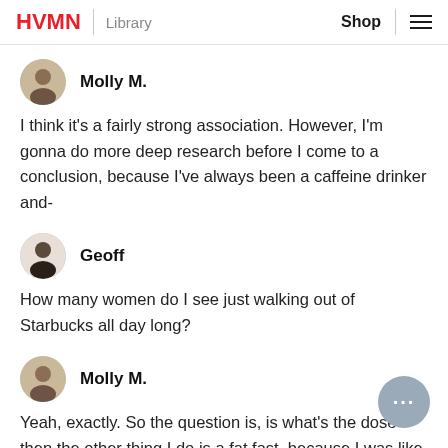HVMN | Library    Shop ≡
Molly M.
I think it's a fairly strong association. However, I'm gonna do more deep research before I come to a conclusion, because I've always been a caffeine drinker and-
Geoff
How many women do I see just walking out of Starbucks all day long?
Molly M.
Yeah, exactly. So the question is, is what's the dose then the other thing I do is a fat fast, because I was like, "Oh, this Complete Guide to Fasting says I can have fat for